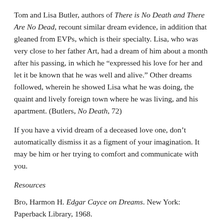Tom and Lisa Butler, authors of There is No Death and There Are No Dead, recount similar dream evidence, in addition that gleaned from EVPs, which is their specialty. Lisa, who was very close to her father Art, had a dream of him about a month after his passing, in which he “expressed his love for her and let it be known that he was well and alive.” Other dreams followed, wherein he showed Lisa what he was doing, the quaint and lively foreign town where he was living, and his apartment. (Butlers, No Death, 72)
If you have a vivid dream of a deceased love one, don’t automatically dismiss it as a figment of your imagination. It may be him or her trying to comfort and communicate with you.
Resources
Bro, Harmon H. Edgar Cayce on Dreams. New York: Paperback Library, 1968.
Bro, Harmon H. Edgar Cayce on Religion and Psychic Experience. New York: Paperback Library, Inc., 1970.